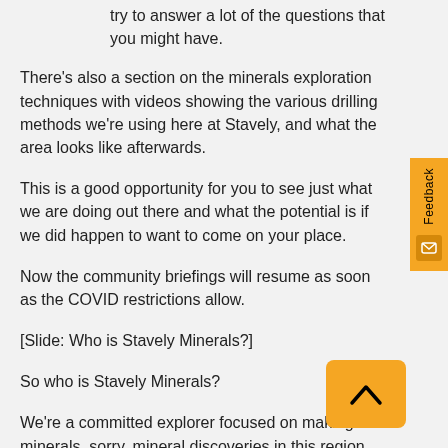try to answer a lot of the questions that you might have.
There's also a section on the minerals exploration techniques with videos showing the various drilling methods we're using here at Stavely, and what the area looks like afterwards.
This is a good opportunity for you to see just what we are doing out there and what the potential is if we did happen to want to come on your place.
Now the community briefings will resume as soon as the COVID restrictions allow.
[Slide: Who is Stavely Minerals?]
So who is Stavely Minerals?
We're a committed explorer focused on making minerals, sorry, mineral discoveries in this region and have been working here since 2013, so we're not new to the area.